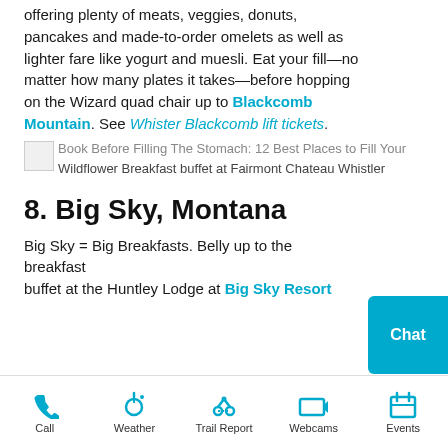Chateau Whistler, the spread is staggering, offering plenty of meats, veggies, donuts, pancakes and made-to-order omelets as well as lighter fare like yogurt and muesli. Eat your fill—no matter how many plates it takes—before hopping on the Wizard quad chair up to Blackcomb Mountain. See Whister Blackcomb lift tickets.
Book Before Filling The Stomach: 12 Best Places to Fill Your Wildflower Breakfast buffet at Fairmont Chateau Whistler
8. Big Sky, Montana
Big Sky = Big Breakfasts. Belly up to the breakfast buffet at the Huntley Lodge at Big Sky Resort
Call  Weather  Trail Report  Webcams  Events